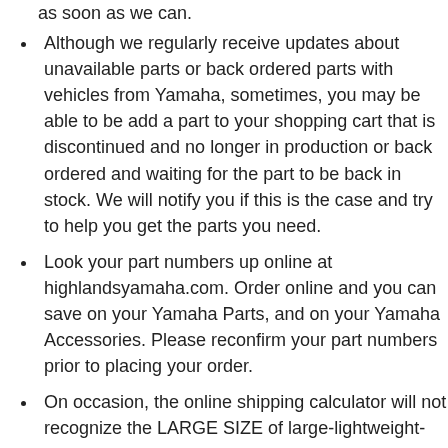Although we regularly receive updates about unavailable parts or back ordered parts with vehicles from Yamaha, sometimes, you may be able to be add a part to your shopping cart that is discontinued and no longer in production or back ordered and waiting for the part to be back in stock. We will notify you if this is the case and try to help you get the parts you need.
Look your part numbers up online at highlandsyamaha.com. Order online and you can save on your Yamaha Parts, and on your Yamaha Accessories. Please reconfirm your part numbers prior to placing your order.
On occasion, the online shipping calculator will not recognize the LARGE SIZE of large-lightweight-items such as plastics, fenders, runners, frames, etc. When your items are packed by us for shipping and there is an additional expense greater than originally charged, we will contact you by phone or email for the additional shipping charges prior to shipping your order. We